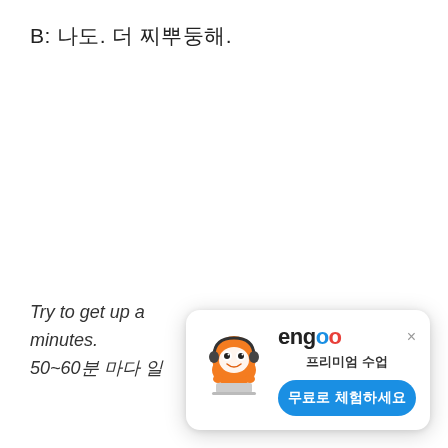B: 나도. 더 찌뿌둥해.
Try to get up a minutes.
50~60분 마다 일
[Figure (illustration): Engoo premium class advertisement popup with mascot (orange cartoon character with headphones), engoo logo, 프리미엄 수업 subtitle, and 무료로 체험하세요 button]